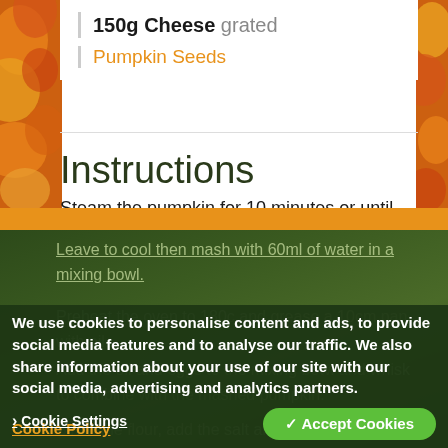150g Cheese grated
Pumpkin Seeds
Instructions
Steam the pumpkin for 10 minutes or until soft.
Leave to cool then mash with 60ml of water in a mixing bowl.
Preheat the oven to 180c and grease a 10cm pan with oil.
Add the oil and eggs to the mixing bowl and whisk to combine with the mashed pumpkin.
Sift in the flour, add the salt and mix well until combined. Spoon the mixture into the
We use cookies to personalise content and ads, to provide social media features and to analyse our traffic. We also share information about your use of our site with our social media, advertising and analytics partners. Cookie Policy
Cookie Settings
✓ Accept Cookies